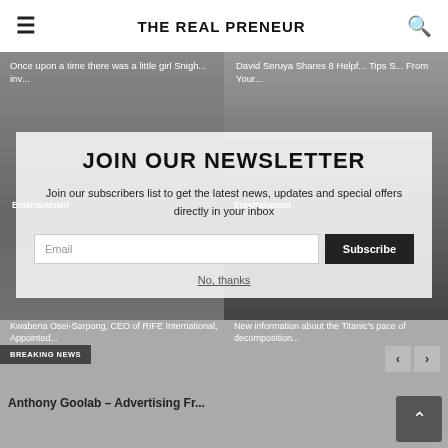THE REAL PRENEUR
Once upon a time there was a little girl Snigh... inv...
David Seruya Shares 8 Helpful Tips S... From Your...
Entertainment
Entertainment
Kwabena Osei-Sarpong, CEO of RIFE International, Appointed...
New information about the Titanic's pace of decomposition...
JOIN OUR NEWSLETTER
Join our subscribers list to get the latest news, updates and special offers directly in your inbox
Email
Subscribe
No, thanks
BREAKING NEWS
Anthony Goolab – Advertising Fr...